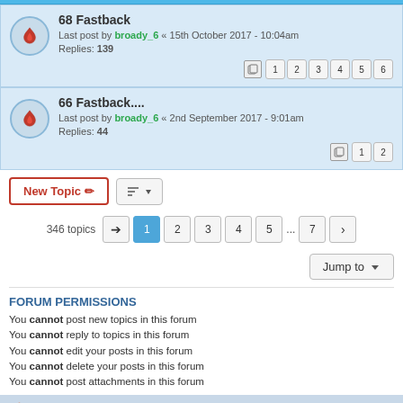68 Fastback — Last post by broady_6 « 15th October 2017 - 10:04am, Replies: 139
66 Fastback.... — Last post by broady_6 « 2nd September 2017 - 9:01am, Replies: 44
New Topic | sort | 346 topics | 1 2 3 4 5 ... 7 >
Jump to
FORUM PERMISSIONS
You cannot post new topics in this forum
You cannot reply to topics in this forum
You cannot edit your posts in this forum
You cannot delete your posts in this forum
You cannot post attachments in this forum
Board index   Contact us   Delete cookies   All times are UTC+01:00
Powered by phpBB® Forum Software © phpBB Limited
Privacy | Terms